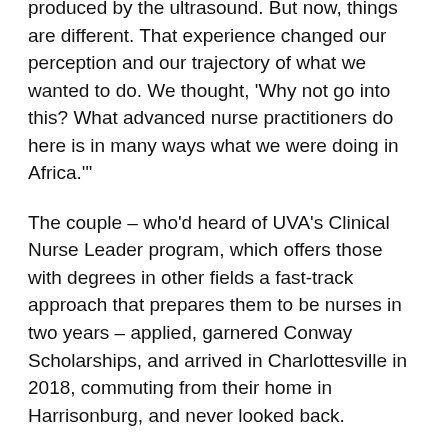produced by the ultrasound. But now, things are different. That experience changed our perception and our trajectory of what we wanted to do. We thought, ‘Why not go into this? What advanced nurse practitioners do here is in many ways what we were doing in Africa.’”
The couple – who’d heard of UVA’s Clinical Nurse Leader program, which offers those with degrees in other fields a fast-track approach that prepares them to be nurses in two years – applied, garnered Conway Scholarships, and arrived in Charlottesville in 2018, commuting from their home in Harrisonburg, and never looked back.
Nursing provided a new challenge, they said, and they found the program both difficult and easy. Technology proved a steep learning curve; even typing quickly on a computer was a new skill, given that African record-keeping was often done on paper. Navigating American English (one of five languages the couple now speaks) also proved a challenge, given the highly technical